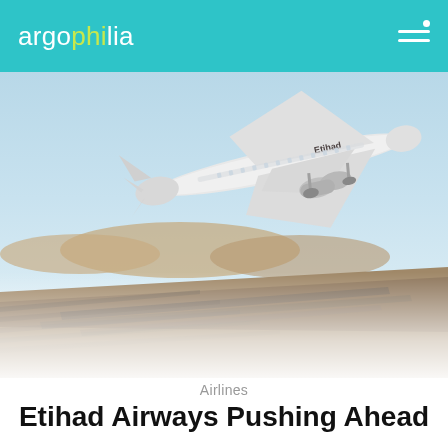argophilia
[Figure (photo): Etihad Airways commercial aircraft taking off from a desert runway, blue sky in background, motion blur on ground]
Airlines
Etihad Airways Pushing Ahead